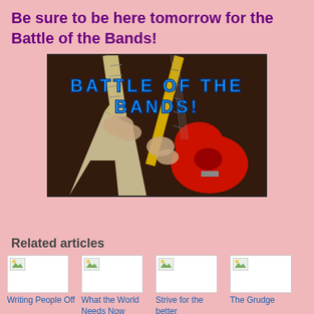Be sure to be here tomorrow for the Battle of the Bands!
[Figure (photo): Photo showing two electric guitars being played, with overlaid text reading BATTLE OF THE BANDS! in blue bold letters against a dark background.]
Related articles
Writing People Off
What the World Needs Now
Strive for the better
The Grudge